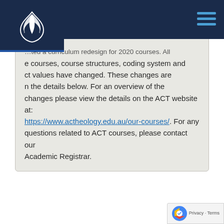[Figure (logo): ACT (Australian College of Theology) logo — white stylized flame/leaf icon on dark navy background]
…ted a curriculum redesign for 2020 courses. All courses, course structures, coding system and credit values have changed. These changes are shown in the details below. For an overview of the changes please view the details on the ACT website at: https://www.actheology.edu.au/our-courses/. For any questions related to ACT courses, please contact our Academic Registrar.
The Bachelor of Ministry is an ideal award to equip you for a lifetime of serving Jesus. It offers you the opportunity to deepen your love of God and his word as you engage in his world. The Bachelor of Ministry provides you with a foundation in Biblical and Systematic Theology with an additional focus on Practical Theology.
Rationale
Introduces students to the sources and content of the Christian story and message, and provides training which emphasises application and practice of this story and message in the